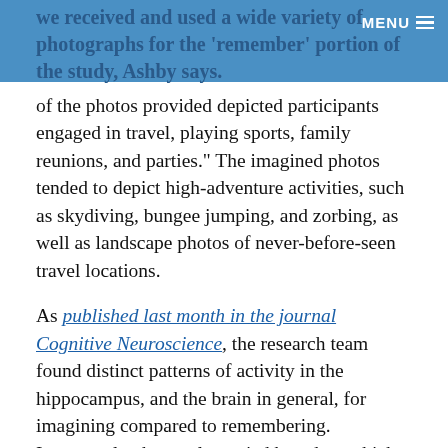we received and used a wide variety of photographs for the 'remember' portion of the study, Ashby says. MENU
of the photos provided depicted participants engaged in travel, playing sports, family reunions, and parties." The imagined photos tended to depict high-adventure activities, such as skydiving, bungee jumping, and zorbing, as well as landscape photos of never-before-seen travel locations.
As published last month in the journal Cognitive Neuroscience, the research team found distinct patterns of activity in the hippocampus, and the brain in general, for imagining compared to remembering. Importantly, the results varied based on which of two different fMRI analysis techniques were used – univariate, the traditional method used in most past studies, or multivariate, a relatively newer method that statistically accounts for more variables. Only the multivariate analysis revealed the differences in hippocampal activation between imagining and remembering.